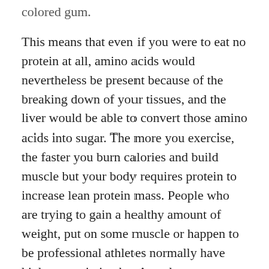colored gum.
This means that even if you were to eat no protein at all, amino acids would nevertheless be present because of the breaking down of your tissues, and the liver would be able to convert those amino acids into sugar. The more you exercise, the faster you burn calories and build muscle but your body requires protein to increase lean protein mass. People who are trying to gain a healthy amount of weight, put on some muscle or happen to be professional athletes normally have higher protein intake. A study was conducted for a whole year involving young men undergoing strength training to see whether a high-protein diet would affect their health negatively. The more protein waste that needs to be removed, the harder the kidneys need to work to get rid of it. This can be stressful for your kidneys, causing them to wear out faster.